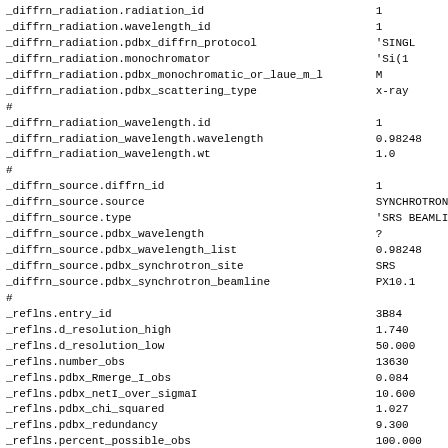_diffrn_radiation.radiation_id                          1
_diffrn_radiation.wavelength_id                         1
_diffrn_radiation.pdbx_diffrn_protocol                  'SINGL
_diffrn_radiation.monochromator                         'Si(1
_diffrn_radiation.pdbx_monochromatic_or_laue_m_l        M
_diffrn_radiation.pdbx_scattering_type                  x-ray
#
_diffrn_radiation_wavelength.id                         1
_diffrn_radiation_wavelength.wavelength                 0.98248
_diffrn_radiation_wavelength.wt                         1.0
#
_diffrn_source.diffrn_id                                1
_diffrn_source.source                                   SYNCHROTRON
_diffrn_source.type                                     'SRS BEAMLINE
_diffrn_source.pdbx_wavelength                          ?
_diffrn_source.pdbx_wavelength_list                     0.98248
_diffrn_source.pdbx_synchrotron_site                    SRS
_diffrn_source.pdbx_synchrotron_beamline                PX10.1
#
_reflns.entry_id                                        3B84
_reflns.d_resolution_high                               1.740
_reflns.d_resolution_low                                50.000
_reflns.number_obs                                      13630
_reflns.pdbx_Rmerge_I_obs                               0.084
_reflns.pdbx_netI_over_sigmaI                           10.600
_reflns.pdbx_chi_squared                                1.027
_reflns.pdbx_redundancy                                 9.300
_reflns.percent_possible_obs                            100.000
_reflns.observed_criterion_sigma_F                      ?
_reflns.observed_criterion_sigma_I                      0.0
_reflns.number_all                                      13620